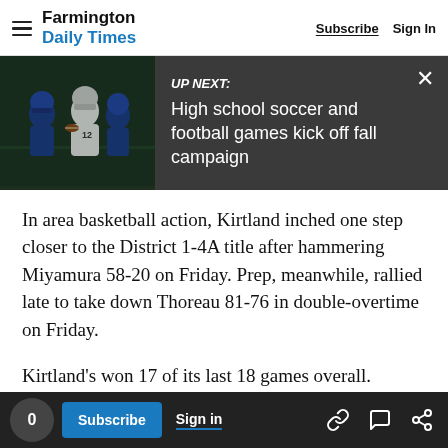Farmington Daily Times — Subscribe | Sign In
[Figure (screenshot): UP NEXT banner with football players photo: High school soccer and football games kick off fall campaign]
In area basketball action, Kirtland inched one step closer to the District 1-4A title after hammering Miyamura 58-20 on Friday. Prep, meanwhile, rallied late to take down Thoreau 81-76 in double-overtime on Friday.
Kirtland's won 17 of its last 18 games overall.
0  Subscribe  Sign in  [link icon] [comment icon] [share icon]